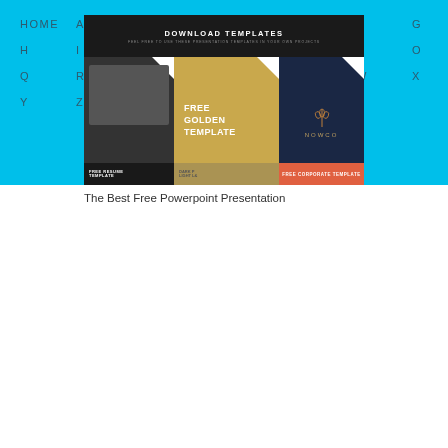HOME A B C D E F G H I J K L M N O P Q R S T U V W X Y Z
[Figure (screenshot): Download Templates promotional banner showing multiple PowerPoint template previews including Free Resume Template, Dark Light template, Free Golden Template, Nowco corporate template with dark navy background, and Free Corporate Template with orange footer button.]
The Best Free Powerpoint Presentation